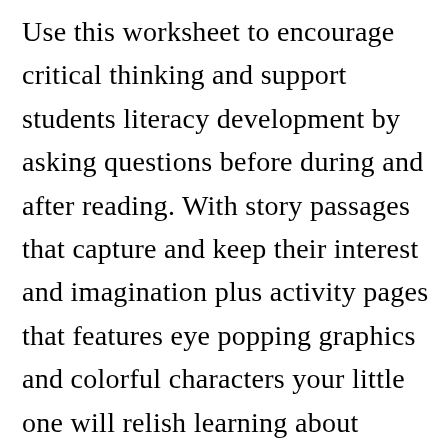Use this worksheet to encourage critical thinking and support students literacy development by asking questions before during and after reading. With story passages that capture and keep their interest and imagination plus activity pages that features eye popping graphics and colorful characters your little one will relish learning about important elements like cause and effect compare and contrast. Cause and effect worksheets and printables. All images come in fuⓧcolor as well as